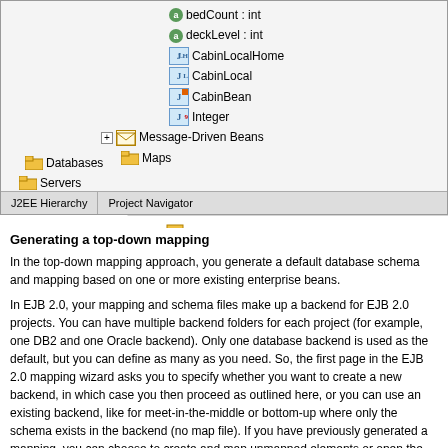[Figure (screenshot): IDE screenshot showing J2EE Hierarchy tree with items: bedCount:int, deckLevel:int, CabinLocalHome, CabinLocal, CabinBean, Integer, Message-Driven Beans, Maps, Databases, Servers. Tab bar shows 'J2EE Hierarchy' and 'Project Navigator' tabs. A partial second panel is visible on the right.]
Generating a top-down mapping
In the top-down mapping approach, you generate a default database schema and mapping based on one or more existing enterprise beans.
In EJB 2.0, your mapping and schema files make up a backend for EJB 2.0 projects. You can have multiple backend folders for each project (for example, one DB2 and one Oracle backend). Only one database backend is used as the default, but you can define as many as you need. So, the first page in the EJB 2.0 mapping wizard asks you to specify whether you want to create a new backend, in which case you then proceed as outlined here, or you can use an existing backend, like for meet-in-the-middle or bottom-up where only the schema exists in the backend (no map file). If you have previously generated a mapping, you can choose to create and map unmapped elements or open the mapping editor to manually make changes.
To generate a schema and map from existing enterprise beans using the top-down mapping approach: